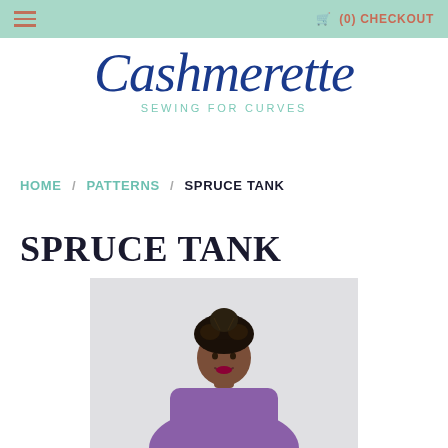≡   🛒 (0) CHECKOUT
[Figure (logo): Cashmerette logo in cursive navy blue script with tagline SEWING FOR CURVES in teal]
HOME / PATTERNS / SPRUCE TANK
SPRUCE TANK
[Figure (photo): A woman wearing a purple Spruce Tank top, with braided hair in an updo, photographed against a light grey background]